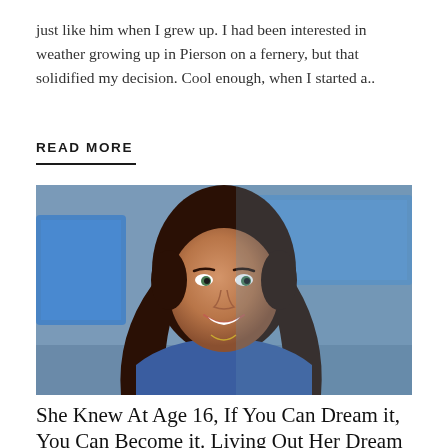just like him when I grew up. I had been interested in weather growing up in Pierson on a fernery, but that solidified my decision. Cool enough, when I started a..
READ MORE
[Figure (photo): Professional headshot of a woman with long dark brown hair, wearing a blue sleeveless top, smiling in a newsroom setting with blue-lit screens in the background.]
She Knew At Age 16, If You Can Dream it, You Can Become it. Living Out Her Dream